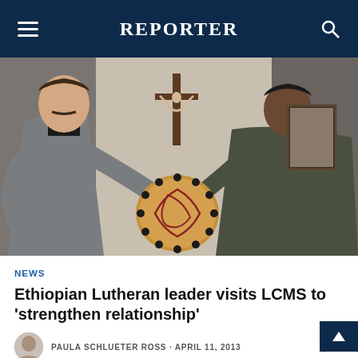REPORTER
[Figure (photo): Two men exchanging a decorative circular wooden artifact. One man on the left wears clerical collar and gray suit jacket. The other man on the right wears a dark jacket. A crucifix is visible on the wall in the background.]
NEWS
Ethiopian Lutheran leader visits LCMS to 'strengthen relationship'
PAULA SCHLUETER ROSS · APRIL 11, 2013   0
The Rev. Berhanu Ofgaa, general secretary of the Ethiopian Evangelical Church Mekane Yesus, talks about his March 27 visit with LCMS